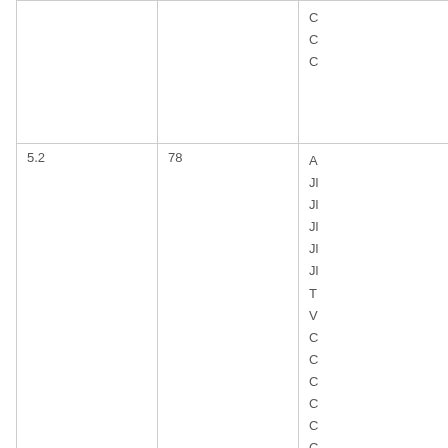|  |  |  | C
C
C |
| 5.2 | 78 | A
Jl
Jl
Jl
Jl
Jl
T
V
C
C
C
C
C
C
C |